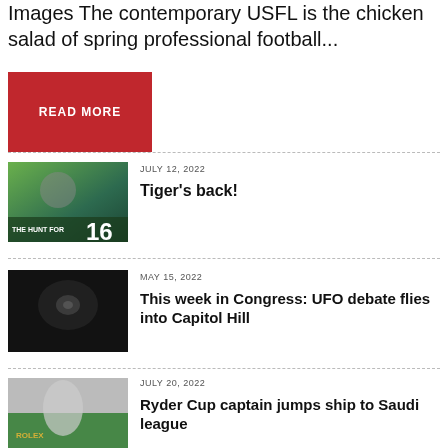Images The contemporary USFL is the chicken salad of spring professional football...
[Figure (other): Red READ MORE button]
[Figure (photo): Golf image with text THE HUNT FOR 16]
JULY 12, 2022
Tiger's back!
[Figure (photo): Dark blurry image, possibly UFO footage]
MAY 15, 2022
This week in Congress: UFO debate flies into Capitol Hill
[Figure (photo): Golfer with Rolex banner in background]
JULY 20, 2022
Ryder Cup captain jumps ship to Saudi league